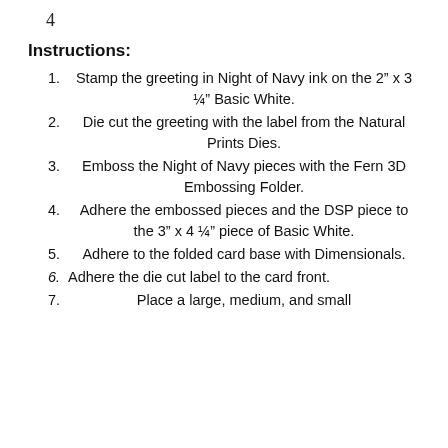4
Instructions:
Stamp the greeting in Night of Navy ink on the 2” x 3 ¼” Basic White.
Die cut the greeting with the label from the Natural Prints Dies.
Emboss the Night of Navy pieces with the Fern 3D Embossing Folder.
Adhere the embossed pieces and the DSP piece to the 3” x 4 ¼” piece of Basic White.
Adhere to the folded card base with Dimensionals.
Adhere the die cut label to the card front.
Place a large, medium, and small